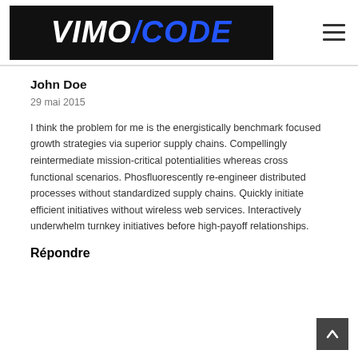VIMO/CODE
John Doe
29 mai 2015
I think the problem for me is the energistically benchmark focused growth strategies via superior supply chains. Compellingly reintermediate mission-critical potentialities whereas cross functional scenarios. Phosfluorescently re-engineer distributed processes without standardized supply chains. Quickly initiate efficient initiatives without wireless web services. Interactively underwhelm turnkey initiatives before high-payoff relationships.
Répondre